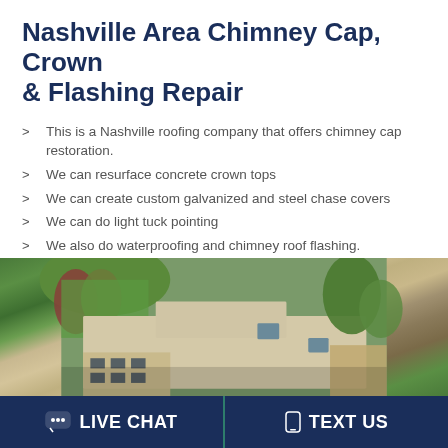Nashville Area Chimney Cap, Crown & Flashing Repair
This is a Nashville roofing company that offers chimney cap restoration.
We can resurface concrete crown tops
We can create custom galvanized and steel chase covers
We can do light tuck pointing
We also do waterproofing and chimney roof flashing.
[Figure (photo): Aerial drone view of a commercial building rooftop surrounded by autumn trees with green lawn visible]
LIVE CHAT   TEXT US